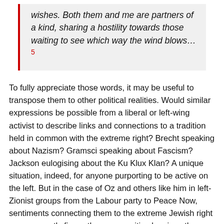wishes. Both them and me are partners of a kind, sharing a hostility towards those waiting to see which way the wind blows…5
To fully appreciate those words, it may be useful to transpose them to other political realities. Would similar expressions be possible from a liberal or left-wing activist to describe links and connections to a tradition held in common with the extreme right? Brecht speaking about Nazism? Gramsci speaking about Fascism? Jackson eulogising about the Ku Klux Klan? A unique situation, indeed, for anyone purporting to be active on the left. But in the case of Oz and others like him in left-Zionist groups from the Labour party to Peace Now, sentiments connecting them to the extreme Jewish right are apparently firmer than any positive leanings they may have towards Palestinians, even those on the left of the political